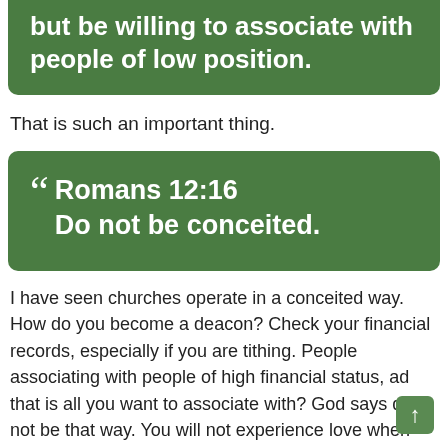but be willing to associate with people of low position.
That is such an important thing.
Romans 12:16
Do not be conceited.
I have seen churches operate in a conceited way. How do you become a deacon? Check your financial records, especially if you are tithing. People associating with people of high financial status, ad that is all you want to associate with? God says do not be that way. You will not experience love when you are just associating with people in your financial status. Learn to love people of all status. Learn to